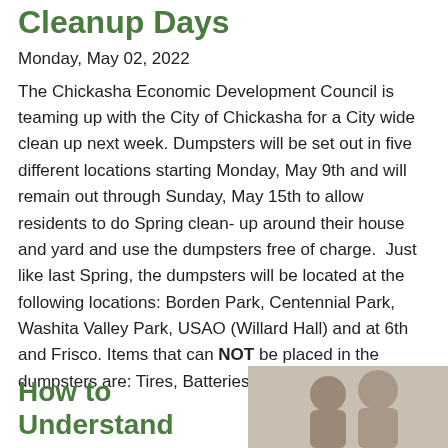Cleanup Days
Monday, May 02, 2022
The Chickasha Economic Development Council is teaming up with the City of Chickasha for a City wide clean up next week. Dumpsters will be set out in five different locations starting Monday, May 9th and will remain out through Sunday, May 15th to allow residents to do Spring clean- up around their house and yard and use the dumpsters free of charge.  Just like last Spring, the dumpsters will be located at the following locations: Borden Park, Centennial Park, Washita Valley Park, USAO (Willard Hall) and at 6th and Frisco. Items that can NOT be placed in the dumpsters are: Tires, Batteries, Oil, Paint...
How to Understand
[Figure (photo): Photo of two people smiling]